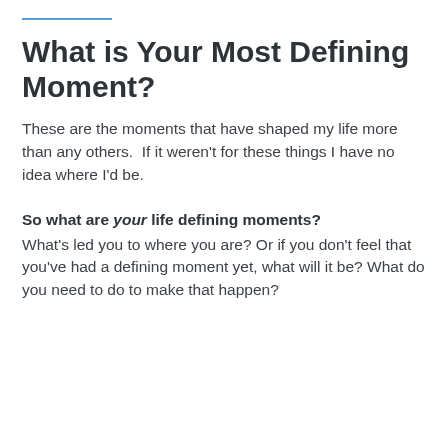What is Your Most Defining Moment?
These are the moments that have shaped my life more than any others.  If it weren't for these things I have no idea where I'd be.
So what are your life defining moments? What's led you to where you are? Or if you don't feel that you've had a defining moment yet, what will it be? What do you need to do to make that happen?